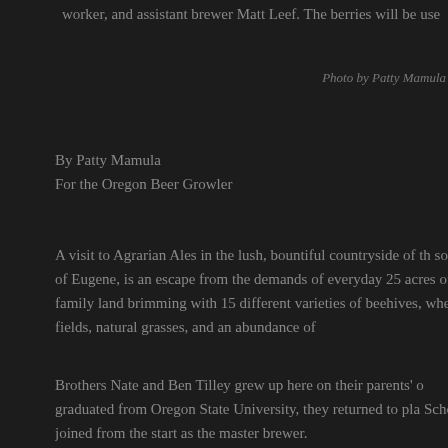worker, and assistant brewer Matt Leef. The berries will be use
Photo by Patty Mamula
By Patty Mamula
For the Oregon Beer Growler
A visit to Agrarian Ales in the lush, bountiful countryside of th south of Eugene, is an escape from the demands of everyday 25 acres of family land brimming with 15 different varieties of beehives, wheat fields, natural grasses, and an abundance of
Brothers Nate and Ben Tilley grew up here on their parents' o graduated from Oregon State University, they returned to pla Schock joined from the start as the master brewer.
In November of 2012, they opened the brewery in a converte Crossroad Farms, their parents' operation. Their vision was to have stayed true to that vision. In fact, they are the only Oreg grown, hand-picked hops.